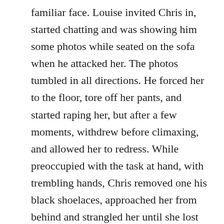familiar face. Louise invited Chris in, started chatting and was showing him some photos while seated on the sofa when he attacked her. The photos tumbled in all directions. He forced her to the floor, tore off her pants, and started raping her, but after a few moments, withdrew before climaxing, and allowed her to redress. While preoccupied with the task at hand, with trembling hands, Chris removed one his black shoelaces, approached her from behind and strangled her until she lost consciousness. Once immobile, he reached in for his jackknife and slashed her across the throat. There she bled, lying on the kitchen floor, with the little one left